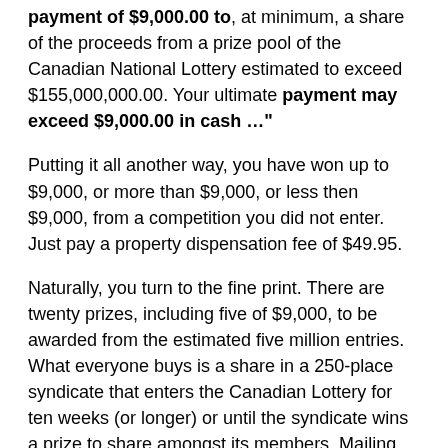payment of $9,000.00 to, at minimum, a share of the proceeds from a prize pool of the Canadian National Lottery estimated to exceed $155,000,000.00. Your ultimate payment may exceed $9,000.00 in cash …"
Putting it all another way, you have won up to $9,000, or more than $9,000, or less then $9,000, from a competition you did not enter. Just pay a property dispensation fee of $49.95.
Naturally, you turn to the fine print. There are twenty prizes, including five of $9,000, to be awarded from the estimated five million entries. What everyone buys is a share in a 250-place syndicate that enters the Canadian Lottery for ten weeks (or longer) or until the syndicate wins a prize to share amongst its members. Mailing lists are provided to other companies. The same promotion will be presented in different forms.
So why do the promoters feel the need to mislead readers into believing they have won something when that is just not true?
Send misleading promotional material to WA ScamNet – for